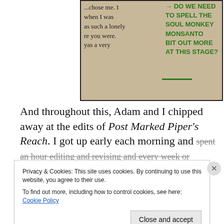[Figure (photo): Photo of a book page with printed text on the left ('...chose me. I when I was as such a lonely re you were. yas a very') and green handwritten annotation on the right reading '→ DO WE NEED TO SPELL THE SOUL MONKEY MONSANTO BIT OUT MORE AT THIS STAGE?' with a short horizontal dash below]
And throughout this, Adam and I chipped away at the edits of Post Marked Piper's Reach. I got up early each morning and spent an hour editing and revising and every week or
Privacy & Cookies: This site uses cookies. By continuing to use this website, you agree to their use.
To find out more, including how to control cookies, see here: Cookie Policy
Close and accept